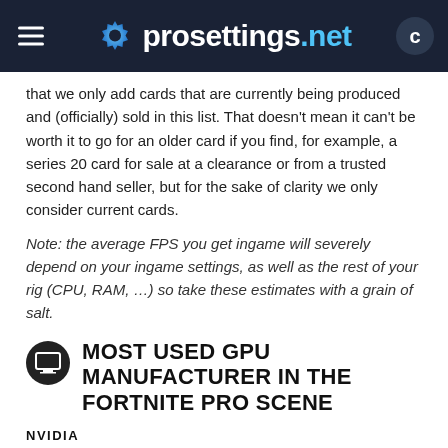prosettings.net
that we only add cards that are currently being produced and (officially) sold in this list. That doesn't mean it can't be worth it to go for an older card if you find, for example, a series 20 card for sale at a clearance or from a trusted second hand seller, but for the sake of clarity we only consider current cards.
Note: the average FPS you get ingame will severely depend on your ingame settings, as well as the rest of your rig (CPU, RAM, ...) so take these estimates with a grain of salt.
MOST USED GPU MANUFACTURER IN THE FORTNITE PRO SCENE
[Figure (bar-chart): Most Used GPU Manufacturer in the Fortnite Pro Scene]